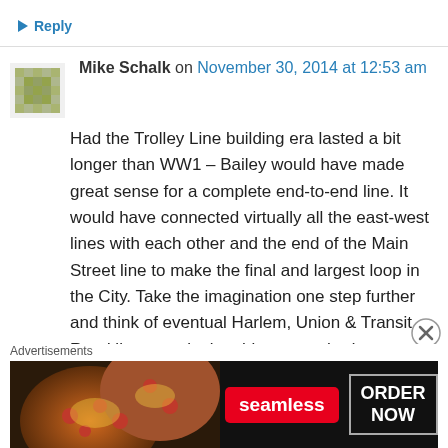↳ Reply
Mike Schalk on November 30, 2014 at 12:53 am
Had the Trolley Line building era lasted a bit longer than WW1 – Bailey would have made great sense for a complete end-to-end line. It would have connected virtually all the east-west lines with each other and the end of the Main Street line to make the final and largest loop in the City. Take the imagination one step further and think of eventual Harlem, Union & Transit Road lines continuing this system had we not
Advertisements
[Figure (photo): Seamless pizza advertisement banner with red Seamless logo and ORDER NOW button]